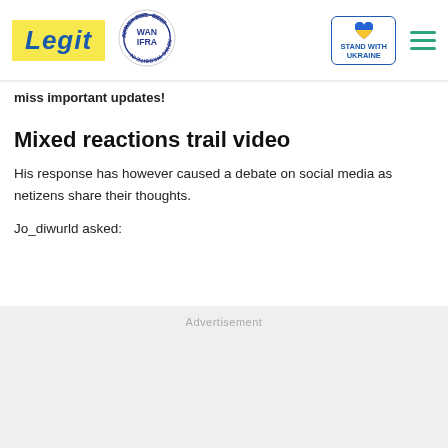Legit | WAN IFRA 2021 Best News Website in Africa | Stand With Ukraine
miss important updates!
Mixed reactions trail video
His response has however caused a debate on social media as netizens share their thoughts.
Jo_diwurld asked:
Advertisement